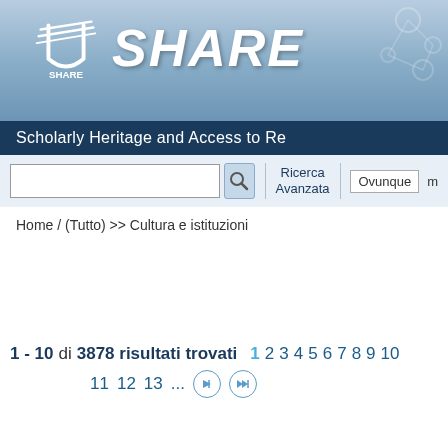[Figure (screenshot): SHARE portal header with logo showing stylized book/wings icon and 'SHARE' text in large white italic bold letters, with decorative molecule graphic top right]
Scholarly Heritage and Access to Re
Home / (Tutto) >> Cultura e istituzioni
1 - 10 di 3878 risultati trovati   1 2 3 4 5 6 7 8 9 10
11 12 13 ...